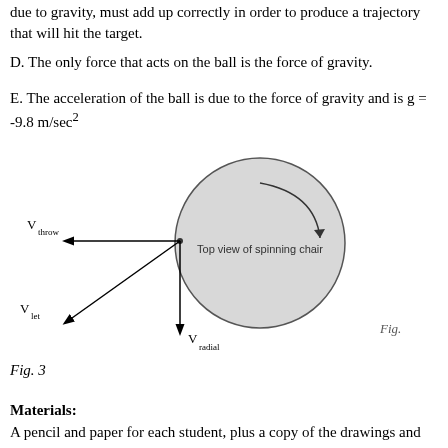due to gravity, must add up correctly in order to produce a trajectory that will hit the target.
D. The only force that acts on the ball is the force of gravity.
E. The acceleration of the ball is due to the force of gravity and is g = -9.8 m/sec²
[Figure (illustration): Top view of spinning chair with velocity vectors: V_throw pointing left, V_let pointing lower-left, V_radial pointing down. A circle labeled 'Top view of spinning chair' with a curved arrow inside. 'Fig.' label at bottom right.]
Fig. 3
Materials:
A pencil and paper for each student, plus a copy of the drawings and plots.